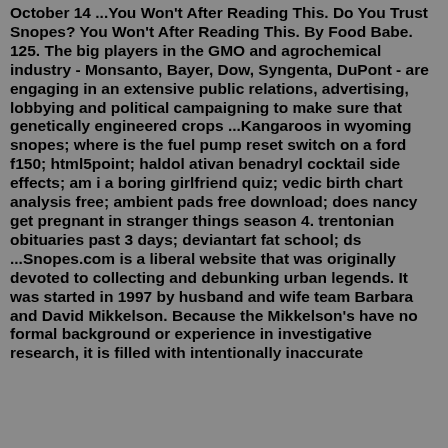October 14 ...You Won't After Reading This. Do You Trust Snopes? You Won't After Reading This. By Food Babe. 125. The big players in the GMO and agrochemical industry - Monsanto, Bayer, Dow, Syngenta, DuPont - are engaging in an extensive public relations, advertising, lobbying and political campaigning to make sure that genetically engineered crops ...Kangaroos in wyoming snopes; where is the fuel pump reset switch on a ford f150; html5point; haldol ativan benadryl cocktail side effects; am i a boring girlfriend quiz; vedic birth chart analysis free; ambient pads free download; does nancy get pregnant in stranger things season 4. trentonian obituaries past 3 days; deviantart fat school; ds ...Snopes.com is a liberal website that was originally devoted to collecting and debunking urban legends. It was started in 1997 by husband and wife team Barbara and David Mikkelson. Because the Mikkelson's have no formal background or experience in investigative research, it is filled with intentionally inaccurate